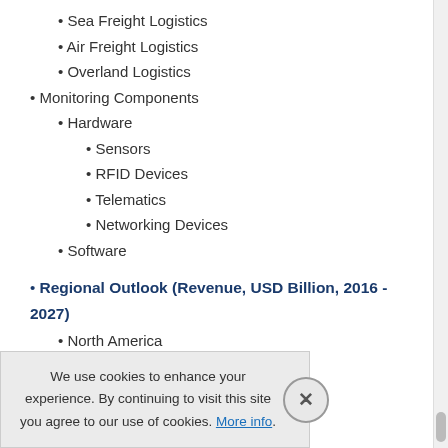Sea Freight Logistics
Air Freight Logistics
Overland Logistics
Monitoring Components
Hardware
Sensors
RFID Devices
Telematics
Networking Devices
Software
Regional Outlook (Revenue, USD Billion, 2016 - 2027)
North America
U.S.
Canada
We use cookies to enhance your experience. By continuing to visit this site you agree to our use of cookies. More info.